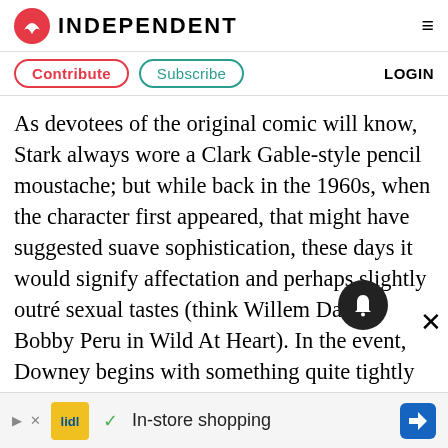INDEPENDENT
Contribute   Subscribe   LOGIN
As devotees of the original comic will know, Stark always wore a Clark Gable-style pencil moustache; but while back in the 1960s, when the character first appeared, that might have suggested suave sophistication, these days it would signify affectation and perhaps slightly outré sexual tastes (think Willem Dafoe's Bobby Peru in Wild At Heart). In the event, Downey begins with something quite tightly groomed – a little bit Charles II, the Merry Monarch – but my impression was that it thickens slightly over the course of the film
[Figure (screenshot): Advertisement bar at bottom: Lidl ad with In-store shopping text, play and close icons, navigation arrow icon]